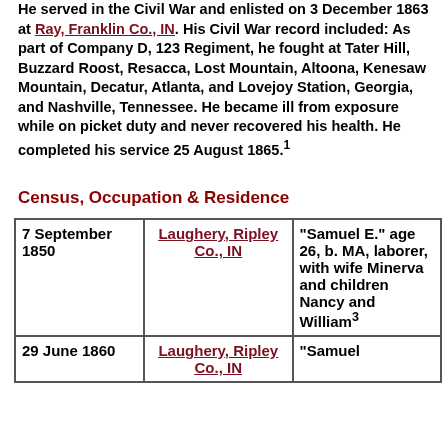He served in the Civil War and enlisted on 3 December 1863 at Ray, Franklin Co., IN. His Civil War record included: As part of Company D, 123 Regiment, he fought at Tater Hill, Buzzard Roost, Resacca, Lost Mountain, Altoona, Kenesaw Mountain, Decatur, Atlanta, and Lovejoy Station, Georgia, and Nashville, Tennessee. He became ill from exposure while on picket duty and never recovered his health. He completed his service 25 August 1865.¹
Census, Occupation & Residence
| Date | Location | Notes |
| --- | --- | --- |
| 7 September 1850 | Laughery, Ripley Co., IN | "Samuel E." age 26, b. MA, laborer, with wife Minerva and children Nancy and William³ |
| 29 June 1860 | Laughery, Ripley Co., IN | "Samuel |